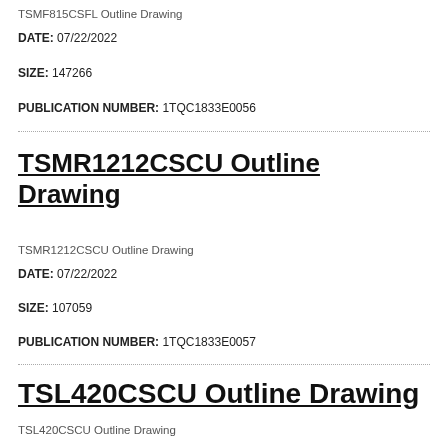TSMF815CSFL Outline Drawing
DATE: 07/22/2022
SIZE: 147266
PUBLICATION NUMBER: 1TQC1833E0056
TSMR1212CSCU Outline Drawing
TSMR1212CSCU Outline Drawing
DATE: 07/22/2022
SIZE: 107059
PUBLICATION NUMBER: 1TQC1833E0057
TSL420CSCU Outline Drawing
TSL420CSCU Outline Drawing